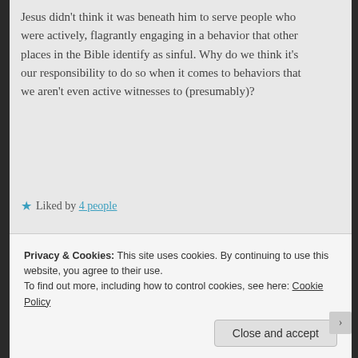Jesus didn't think it was beneath him to serve people who were actively, flagrantly engaging in a behavior that other places in the Bible identify as sinful. Why do we think it's our responsibility to do so when it comes to behaviors that we aren't even active witnesses to (presumably)?
★ Liked by 4 people
pocketnaomi says: April 5, 2015 at 4:46 pm
I'm afraid I *am* going to say that the
Privacy & Cookies: This site uses cookies. By continuing to use this website, you agree to their use. To find out more, including how to control cookies, see here: Cookie Policy
Close and accept